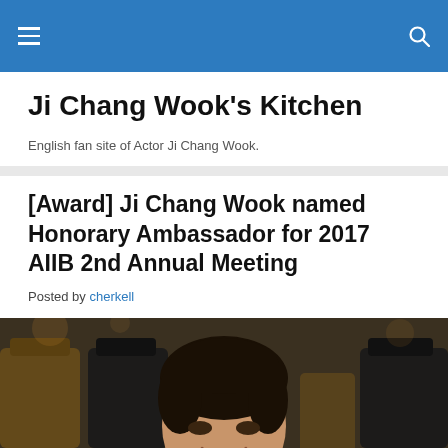Ji Chang Wook's Kitchen — navigation bar
Ji Chang Wook's Kitchen
English fan site of Actor Ji Chang Wook.
[Award] Ji Chang Wook named Honorary Ambassador for 2017 AIIB 2nd Annual Meeting
Posted by cherkell
[Figure (photo): Photo of Ji Chang Wook smiling, seated in an auditorium with dark chairs visible in the background.]